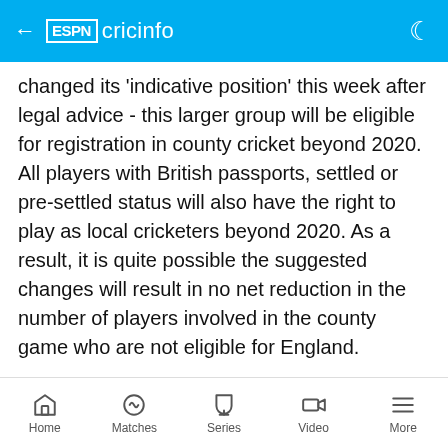ESPN cricinfo
changed its 'indicative position' this week after legal advice - this larger group will be eligible for registration in county cricket beyond 2020. All players with British passports, settled or pre-settled status will also have the right to play as local cricketers beyond 2020. As a result, it is quite possible the suggested changes will result in no net reduction in the number of players involved in the county game who are not eligible for England.
There may be positive consequences for other nations, however. If the security offered by Kolpak and EU deals is reduced, it may well be that it dissuades other
Home  Matches  Series  Video  More